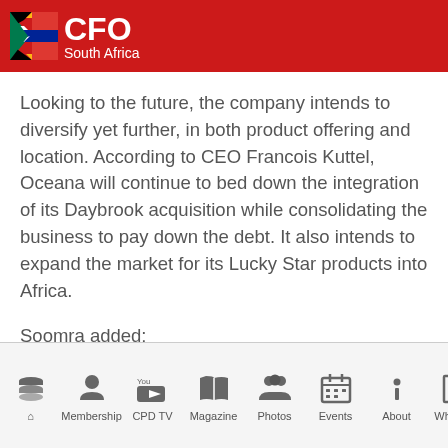CFO South Africa
Looking to the future, the company intends to diversify yet further, in both product offering and location. According to CEO Francois Kuttel, Oceana will continue to bed down the integration of its Daybrook acquisition while consolidating the business to pay down the debt. It also intends to expand the market for its Lucky Star products into Africa.
Soomra added:
Membership  CPD TV  Magazine  Photos  Events  About  Whitepap